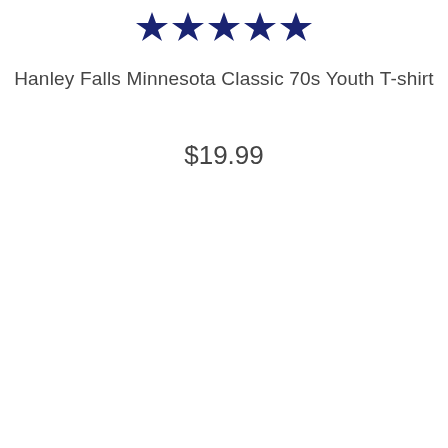[Figure (other): Five filled dark navy blue star icons representing a 5-star rating]
Hanley Falls Minnesota Classic 70s Youth T-shirt
$19.99